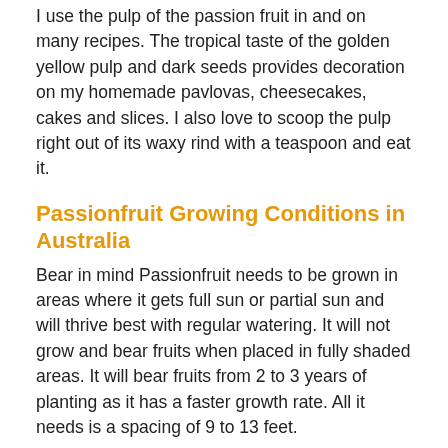I use the pulp of the passion fruit in and on many recipes. The tropical taste of the golden yellow pulp and dark seeds provides decoration on my homemade pavlovas, cheesecakes, cakes and slices. I also love to scoop the pulp right out of its waxy rind with a teaspoon and eat it.
Passionfruit Growing Conditions in Australia
Bear in mind Passionfruit needs to be grown in areas where it gets full sun or partial sun and will thrive best with regular watering. It will not grow and bear fruits when placed in fully shaded areas. It will bear fruits from 2 to 3 years of planting as it has a faster growth rate. All it needs is a spacing of 9 to 13 feet.
How to Grow Passion Fruit from Seed
Passion fruit from the top and all it f...